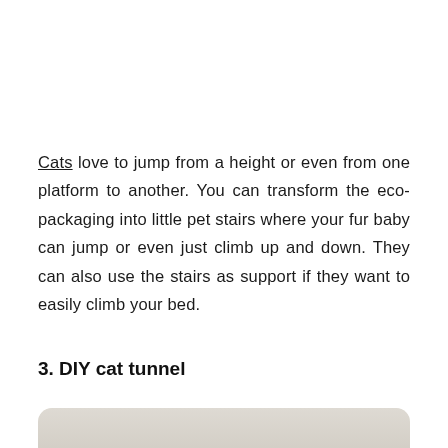Cats love to jump from a height or even from one platform to another. You can transform the eco-packaging into little pet stairs where your fur baby can jump or even just climb up and down. They can also use the stairs as support if they want to easily climb your bed.
3. DIY cat tunnel
[Figure (photo): Partial photo of a cat tunnel or related DIY pet item, cropped at bottom of page, showing a light beige/grey background.]